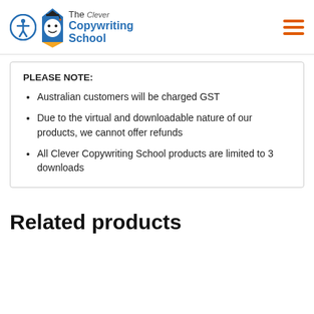[Figure (logo): The Clever Copywriting School logo with accessibility icon, blue pencil mascot, and school name in blue]
PLEASE NOTE:
Australian customers will be charged GST
Due to the virtual and downloadable nature of our products, we cannot offer refunds
All Clever Copywriting School products are limited to 3 downloads
Related products